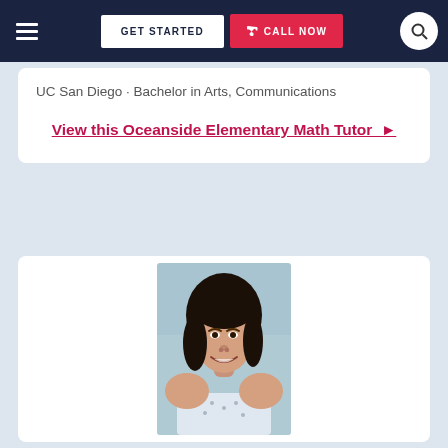GET STARTED | CALL NOW
UC San Diego · Bachelor in Arts, Communications
View this Oceanside Elementary Math Tutor ▶
[Figure (photo): Portrait photo of a young woman with dark hair, smiling, wearing a light-colored top, photographed against a light blue background.]